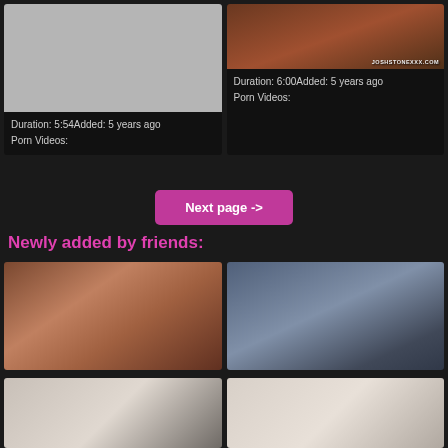[Figure (screenshot): Video thumbnail placeholder grey box]
Duration: 5:54Added: 5 years ago
Porn Videos:
[Figure (screenshot): Video thumbnail with watermark JoshStoneXXX.com]
Duration: 6:00Added: 5 years ago
Porn Videos:
Next page ->
Newly added by friends:
[Figure (screenshot): Video thumbnail - blonde woman]
[Figure (screenshot): Video thumbnail - man and woman on couch]
[Figure (screenshot): Video thumbnail partial - bottom left]
[Figure (screenshot): Video thumbnail partial - bottom right]